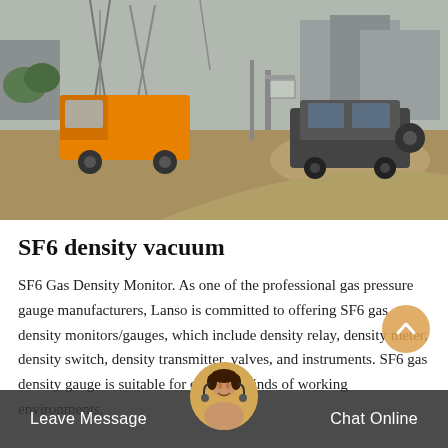[Figure (photo): Outdoor industrial/utility site photo showing an orange truck on the left and a dark SUV on the right, on a dirt road with utility towers and buildings in the background.]
SF6 density vacuum
SF6 Gas Density Monitor. As one of the professional gas pressure gauge manufacturers, Lanso is committed to offering SF6 gas density monitors/gauges, which include density relay, density meter, density switch, density transmitter, valves, and instruments. SF6 gas density gauge is suitable for different kinds of working environments.
Leave Message   Chat Online